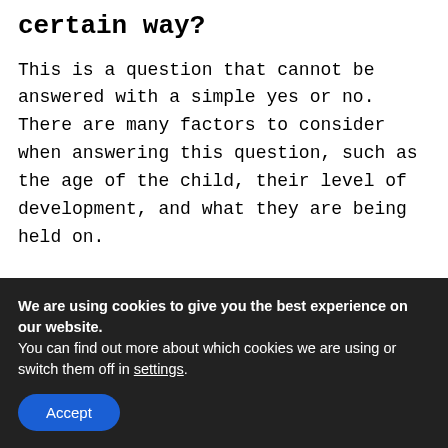certain way?
This is a question that cannot be answered with a simple yes or no. There are many factors to consider when answering this question, such as the age of the child, their level of development, and what they are being held on.
How do you keep a newborn awake during the day?
We are using cookies to give you the best experience on our website.
You can find out more about which cookies we are using or switch them off in settings.
Accept